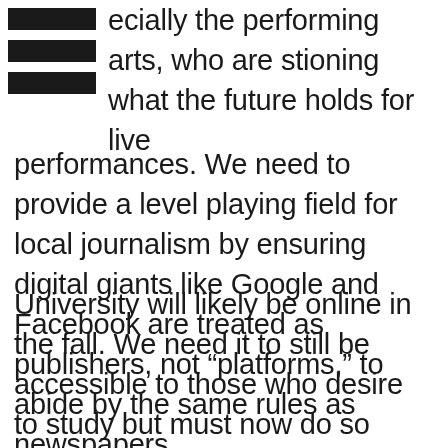[Figure (other): Hamburger menu icon with three black horizontal bars]
ecially the performing arts, who are stioning what the future holds for live performances. We need to provide a level playing field for local journalism by ensuring digital giants like Google and Facebook are treated as publishers, not “platforms,” to abide by the same rules as newspapers.
University will likely be online in the fall. We need it to still be accessible to those who desire to study but must now do so from home. Being on campus is an equalizer in the world of post-secondary education as not everyone has the privilege of a home life conducive to studying. Ensuring quality